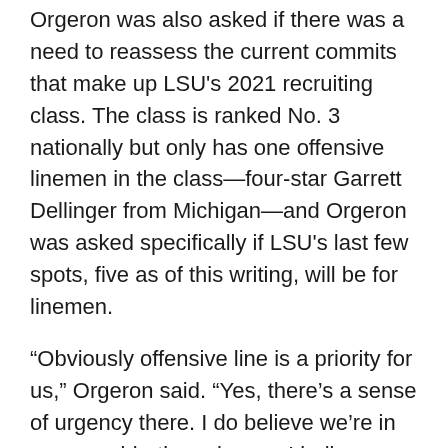Orgeron was also asked if there was a need to reassess the current commits that make up LSU's 2021 recruiting class. The class is ranked No. 3 nationally but only has one offensive linemen in the class—four-star Garrett Dellinger from Michigan—and Orgeron was asked specifically if LSU's last few spots, five as of this writing, will be for linemen.
“Obviously offensive line is a priority for us,” Orgeron said. “Yes, there’s a sense of urgency there. I do believe we’re in on some big-time players. I believe we’re going to have success on one or two. We may need a junior college player or maybe a graduate transfer in that area. I may have to hold a couple scholarships for graduate transfers. We had a roster management meeting this morning. That subject did come up.”